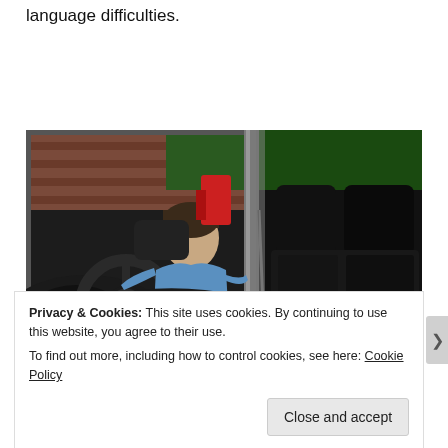language difficulties.
[Figure (photo): A person in a blue shirt and blue trousers sitting in the driver's seat of a car, viewed from outside through the open door. The car interior shows a steering wheel and dashboard on the left panel, and the rear seat visible through the open door on the right panel.]
Privacy & Cookies: This site uses cookies. By continuing to use this website, you agree to their use.
To find out more, including how to control cookies, see here: Cookie Policy
Close and accept